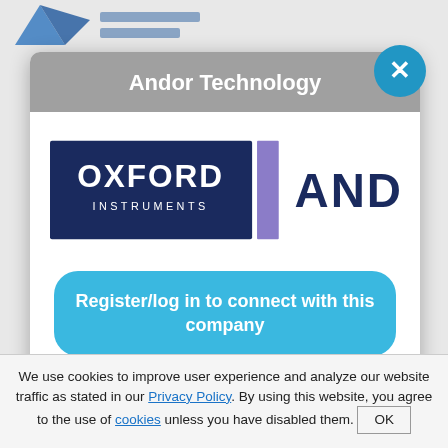Andor Technology
[Figure (logo): Oxford Instruments | Andor combined logo — Oxford Instruments text on dark blue background on left, purple vertical divider bar, ANDOR text in dark navy on right]
Register/log in to connect with this company
About Andor Technology:
We use cookies to improve user experience and analyze our website traffic as stated in our Privacy Policy. By using this website, you agree to the use of cookies unless you have disabled them.